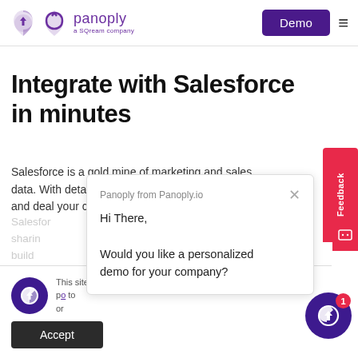panoply — a SQream company | Demo
Integrate with Salesforce in minutes
Salesforce is a gold mine of marketing and sales data. With detail and deal your co
Panoply from Panoply.io
Hi There,
Would you like a personalized demo for your company?
This site po to or
Accept